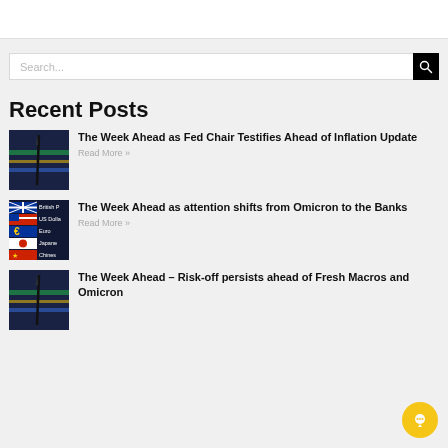[Figure (screenshot): Search bar with black search button on grey background]
Recent Posts
[Figure (photo): Financial chart with pen, colorful market data display]
The Week Ahead as Fed Chair Testifies Ahead of Inflation Update
Read More »
[Figure (photo): Currency flags board showing British Pound, US Dollar, Euro, Japanese Yen, Chinese currency]
The Week Ahead as attention shifts from Omicron to the Banks
Read More »
[Figure (photo): Financial chart with pen, colorful market data]
The Week Ahead – Risk-off persists ahead of Fresh Macros and Omicron